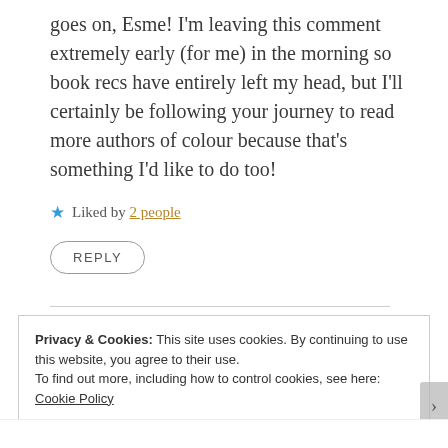goes on, Esme! I'm leaving this comment extremely early (for me) in the morning so book recs have entirely left my head, but I'll certainly be following your journey to read more authors of colour because that's something I'd like to do too!
★ Liked by 2 people
REPLY
Privacy & Cookies: This site uses cookies. By continuing to use this website, you agree to their use. To find out more, including how to control cookies, see here: Cookie Policy
Close and accept